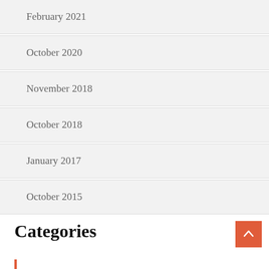February 2021
October 2020
November 2018
October 2018
January 2017
October 2015
Categories